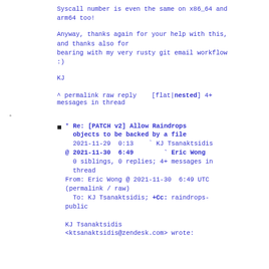Syscall number is even the same on x86_64 and arm64 too!
Anyway, thanks again for your help with this, and thanks also for bearing with my very rusty git email workflow :)
KJ
^ permalink raw reply    [flat|nested] 4+ messages in thread
* Re: [PATCH v2] Allow Raindrops objects to be backed by a file
2021-11-29  0:13    ` KJ Tsanaktsidis
@ 2021-11-30  6:49         ` Eric Wong
  0 siblings, 0 replies; 4+ messages in thread
From: Eric Wong @ 2021-11-30  6:49 UTC (permalink / raw)
  To: KJ Tsanaktsidis; +Cc: raindrops-public

KJ Tsanaktsidis <ktsanaktsidis@zendesk.com> wrote: